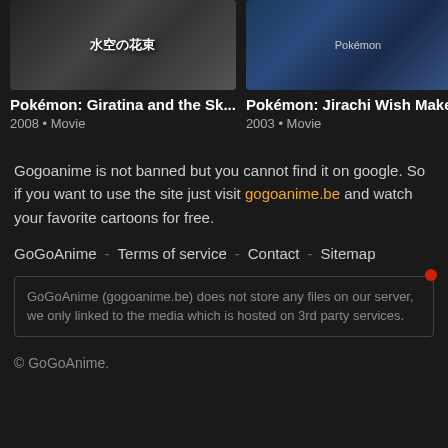[Figure (screenshot): Thumbnail for Pokémon: Giratina and the Sky - anime movie poster with Japanese text]
Pokémon: Giratina and the Sk...
2008 • Movie
[Figure (screenshot): Thumbnail for Pokémon: Jirachi Wish Maker - anime movie poster with characters]
Pokémon: Jirachi Wish Maker...
2003 • Movie
Gogoanime is not banned but you cannot find it on google. So if you want to use the site just visit gogoanime.be and watch your favorite cartoons for free.
GoGoAnime - Terms of service - Contact - Sitemap
GoGoAnime (gogoanime.be) does not store any files on our server, we only linked to the media which is hosted on 3rd party services.
© GoGoAnime.